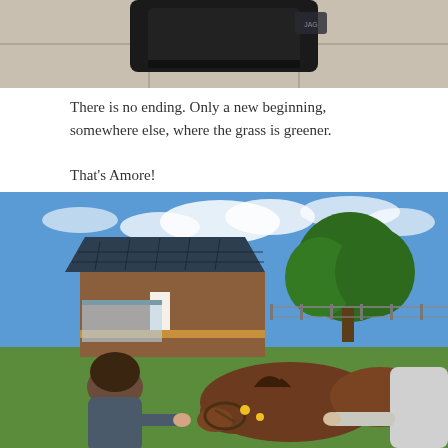[Figure (photo): Partial view of a black object (bag or saddle) resting on a tiled surface, photographed from above.]
There is no ending. Only a new beginning, somewhere else, where the grass is greener.
That's Amore!
[Figure (photo): Outdoor scene with blue sky. A child with dark hair sits on green grass petting a brown horse that is lying down, with another adult nearby. A barn with solar panels on the roof and trees are visible in the background.]